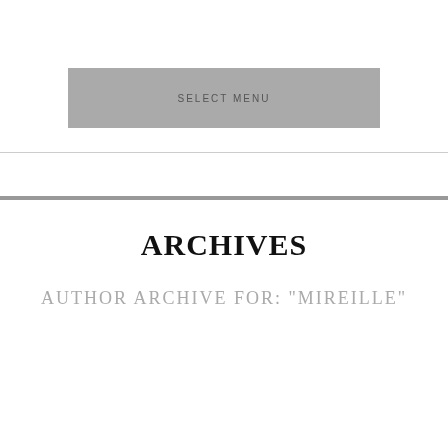SELECT MENU
ARCHIVES
AUTHOR ARCHIVE FOR: "MIREILLE"